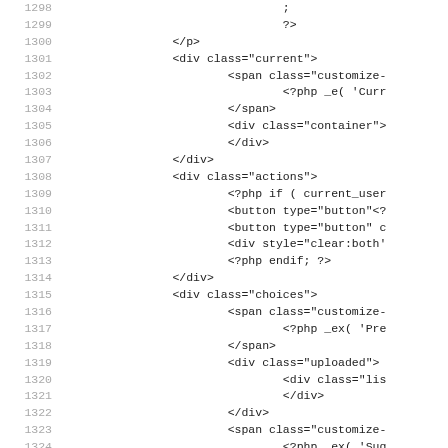Code listing lines 1298-1330 showing PHP/HTML source code with line numbers